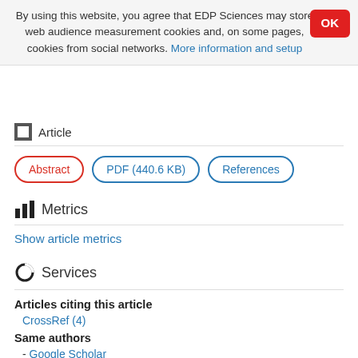By using this website, you agree that EDP Sciences may store web audience measurement cookies and, on some pages, cookies from social networks. More information and setup
Article
Abstract
PDF (440.6 KB)
References
Metrics
Show article metrics
Services
Articles citing this article
CrossRef (4)
Same authors
- Google Scholar
- EDP Sciences database